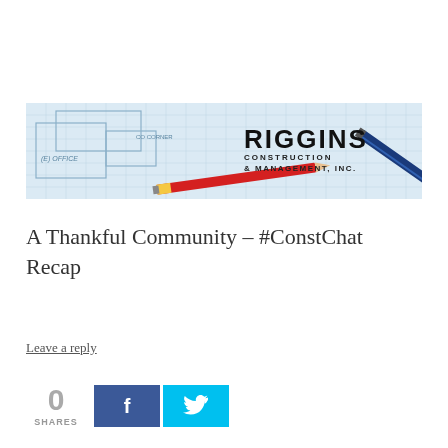Menu
[Figure (logo): Riggins Construction & Management, Inc. banner with blueprint/architectural drawing background and pencils, company logo on right side]
A Thankful Community – #ConstChat Recap
Leave a reply
0 SHARES